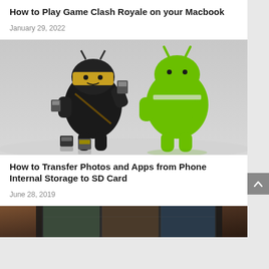How to Play Game Clash Royale on your Macbook
January 29, 2022
[Figure (photo): Two Android robot figurines (one black ninja-style holding SD cards, one standard green) with multiple SD memory cards on a white surface]
How to Transfer Photos and Apps from Phone Internal Storage to SD Card
June 28, 2019
[Figure (photo): Tablet device showing photos on screen, partially visible at bottom of page]